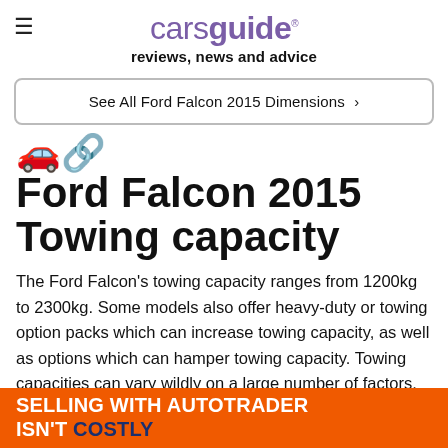carsguide reviews, news and advice
See All Ford Falcon 2015 Dimensions ›
🚗 Ford Falcon 2015 Towing capacity
The Ford Falcon's towing capacity ranges from 1200kg to 2300kg. Some models also offer heavy-duty or towing option packs which can increase towing capacity, as well as options which can hamper towing capacity. Towing capacities can vary wildly on a large number of factors. These factors include options chosen ... your vehicle...
[Figure (infographic): Orange advertisement banner: SELLING WITH AUTOTRADER ISN'T COSTLY]